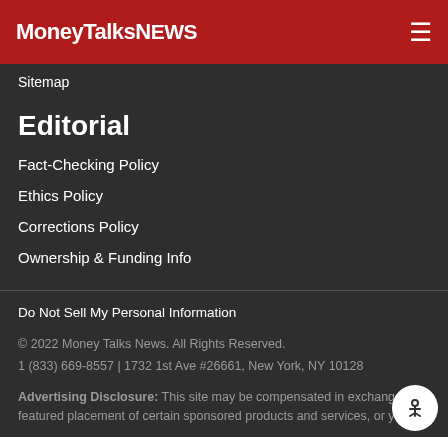MoneyTalksNews
Sitemap
Editorial
Fact-Checking Policy
Ethics Policy
Corrections Policy
Ownership & Funding Info
Do Not Sell My Personal Information
© 2022 Money Talks News. All Rights Reserved.
1 (833) 669-8557 | 1732 1st Ave #26661, New York, NY 10128
Advertising Disclosure: This site may be compensated in exchange for featured placement of certain sponsored products and services, or your